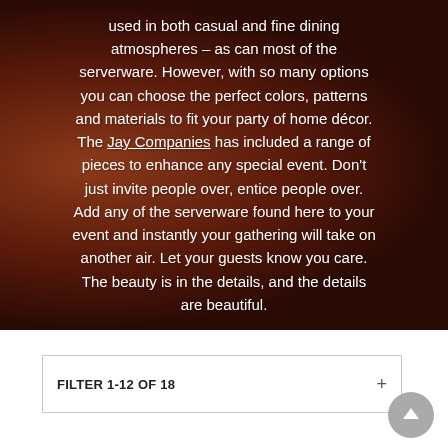[Figure (photo): Background photo of decorative tableware/serverware items with a dark warm reddish-brown tone, serving as backdrop for overlaid text]
used in both casual and fine dining atmospheres – as can most of the serverware. However, with so many options you can choose the perfect colors, patterns and materials to fit your party of home décor. The Jay Companies has included a range of pieces to enhance any special event. Don't just invite people over, entice people over. Add any of the serverware found here to your event and instantly your gathering will take on another air. Let your guests know you care. The beauty is in the details, and the details are beautiful.
FILTER 1-12 OF 18